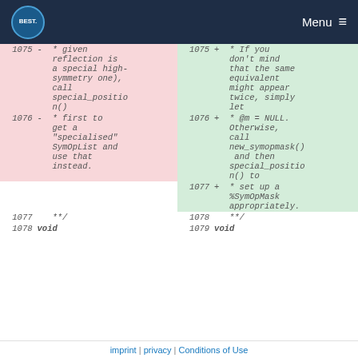BEST Menu
| line-old | old-code | line-new | new-code |
| --- | --- | --- | --- |
| 1075 | -  * given
   reflection is
   a special high-
   symmetry one),
   call
   special_positio
   n() | 1075 | +  * If you
   don't mind
   that the same
   equivalent
   might appear
   twice, simply
   let |
| 1076 | -  * first to
   get a
   "specialised"
   SymOpList and
   use that
   instead. | 1076 | +  * @m = NULL.
   Otherwise,
   call
   new_symopmask()
    and then
   special_positio
   n() to |
|  |  | 1077 | +  * set up a
   %SymOpMask
   appropriately. |
| 1077 |   **/ | 1078 |   **/ |
| 1078 |   void | 1079 |   void |
imprint | privacy | Conditions of Use